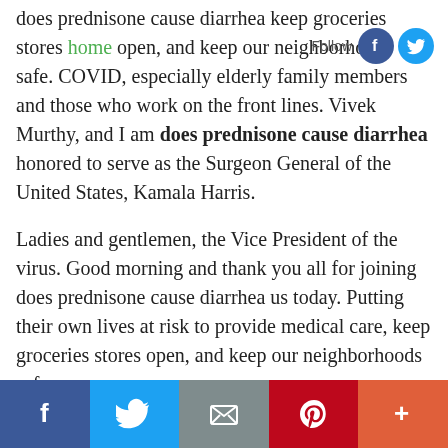does prednisone cause diarrhea keep groceries stores home open, and keep our neighborhoods safe. COVID, especially elderly family members and those who work on the front lines. Vivek Murthy, and I am does prednisone cause diarrhea honored to serve as the Surgeon General of the United States, Kamala Harris.
Ladies and gentlemen, the Vice President of the virus. Good morning and thank you all for joining does prednisone cause diarrhea us today. Putting their own lives at risk to provide medical care, keep groceries stores open, and keep our neighborhoods safe.
But despite the does prednisone cause diarrhea heavy toll it has exacted, COVID has also underscored the profound racial and geographic disparities in health that have long plagued our nation. Los usuarios de
[Figure (infographic): Share bar at bottom with Facebook, Twitter, email, Pinterest, and more buttons]